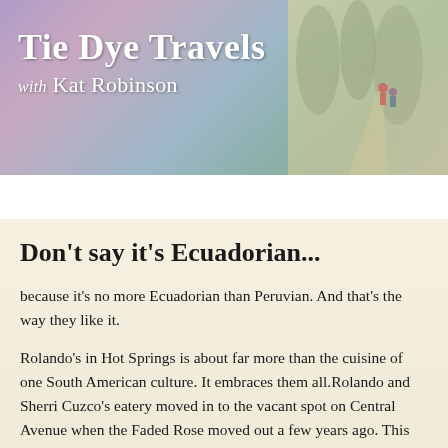[Figure (logo): Tie Dye Travels with Kat Robinson header banner with purple-pink-teal gradient background and a photo of people on a path in the upper right]
Home ▼
Don't say it's Ecuadorian...
because it's no more Ecuadorian than Peruvian. And that's the way they like it.
Rolando's in Hot Springs is about far more than the cuisine of one South American culture. It embraces them all.Rolando and Sherri Cuzco's eatery moved in to the vacant spot on Central Avenue when the Faded Rose moved out a few years ago. This and their location in Fort Smith serve up similar fare -- but it's all good, and most of it has a bit of a bite to it.
The large group I was with came in to welcomes, hugs, and